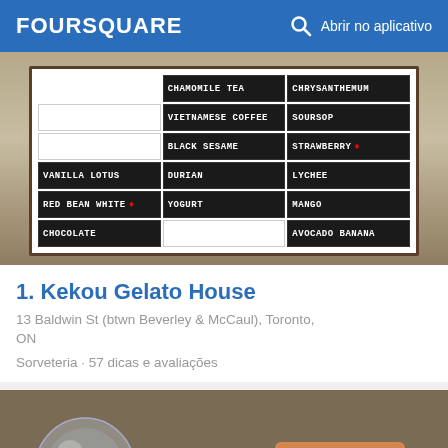FOURSQUARE  🔍  Abrir no aplicativo
[Figure (photo): Menu board showing gelato flavors: CHAMOMILE TEA, CHRYSANTHEMUM, VIETNAMESE COFFEE, SOURSOP, BLACK SESAME, STRAWBERRY, VANILLA LOTUS, DURIAN, LYCHEE, RED BEAN WHITE, YOGURT, MANGO, CHOCOLATE, AVOCADO BANANA]
1. Kekou Gelato House
13 Baldwin St (btwn Beverley & McCaul), Toronto, ON
Sorveteria · 57 dicas e avaliações
[Figure (photo): Photo of a pour-over coffee setup with a glass globe water kettle on the left and a copper/rose-gold colored coffee dripper cone on the right, with coffee being brewed]